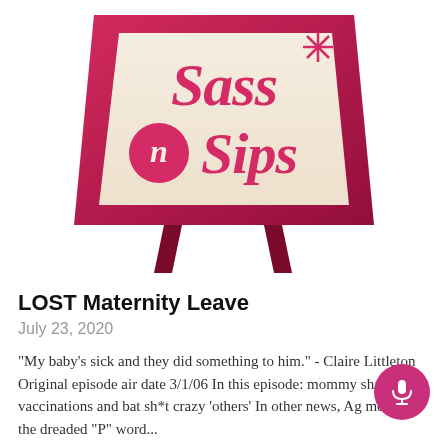[Figure (logo): Sass N Sips podcast logo: a retro TV set shape in pink/crimson with cream-colored screen showing 'Sass N Sips' in decorative script, with a starburst asterisk. TV has two angled legs.]
LOST Maternity Leave
July 23, 2020
"My baby's sick and they did something to him." - Claire Littleton Original episode air date 3/1/06 In this episode: mommy shaming, vaccinations and bat sh*t crazy 'others' In other news, Ag mentions the dreaded "P" word...